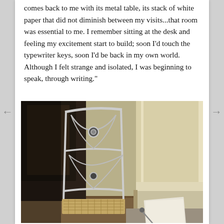comes back to me with its metal table, its stack of white paper that did not diminish between my visits...that room was essential to me. I remember sitting at the desk and feeling my excitement start to build; soon I'd touch the typewriter keys, soon I'd be back in my own world. Although I felt strange and isolated, I was beginning to speak, through writing."
[Figure (photo): Black and white style photo of an ornate metal chair with decorative curved back, positioned near a window with a light-colored wall. On a table or floor surface nearby are papers and what appears to be a typewriter or writing instrument.]